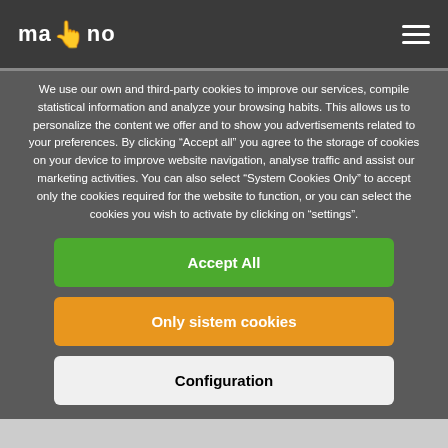mano [logo with hand icon]
We use our own and third-party cookies to improve our services, compile statistical information and analyze your browsing habits. This allows us to personalize the content we offer and to show you advertisements related to your preferences. By clicking "Accept all" you agree to the storage of cookies on your device to improve website navigation, analyse traffic and assist our marketing activities. You can also select "System Cookies Only" to accept only the cookies required for the website to function, or you can select the cookies you wish to activate by clicking on "settings".
Accept All
Only sistem cookies
Configuration